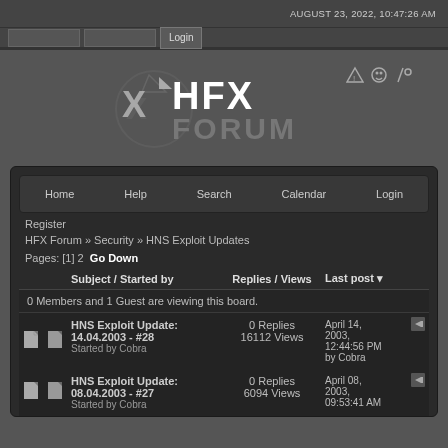AUGUST 23, 2022, 10:47:26 AM
[Figure (logo): HFX Forum logo with stylized X and text HFX FORUM]
Home  Help  Search  Calendar  Login
Register
HFX Forum » Security » HNS Exploit Updates
Pages: [1] 2  Go Down
|  |  | Subject / Started by | Replies / Views | Last post |
| --- | --- | --- | --- | --- |
| 0 Members and 1 Guest are viewing this board. |
| [icon] | [icon] | HNS Exploit Update: 14.04.2003 - #28
Started by Cobra | 0 Replies
16112 Views | April 14, 2003, 12:44:56 PM
by Cobra |
| [icon] | [icon] | HNS Exploit Update: 08.04.2003 - #27
Started by Cobra | 0 Replies
6094 Views | April 08, 2003, 09:53:41 AM |